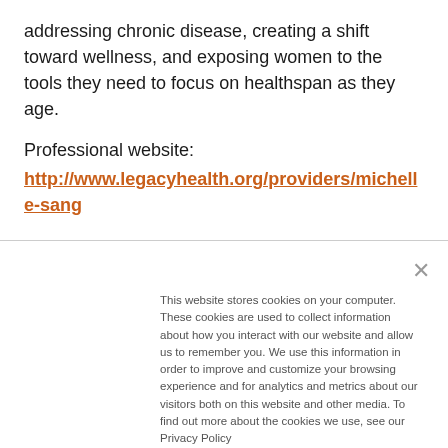addressing chronic disease, creating a shift toward wellness, and exposing women to the tools they need to focus on healthspan as they age.
Professional website:
http://www.legacyhealth.org/providers/michelle-sang
This website stores cookies on your computer. These cookies are used to collect information about how you interact with our website and allow us to remember you. We use this information in order to improve and customize your browsing experience and for analytics and metrics about our visitors both on this website and other media. To find out more about the cookies we use, see our Privacy Policy
Accept